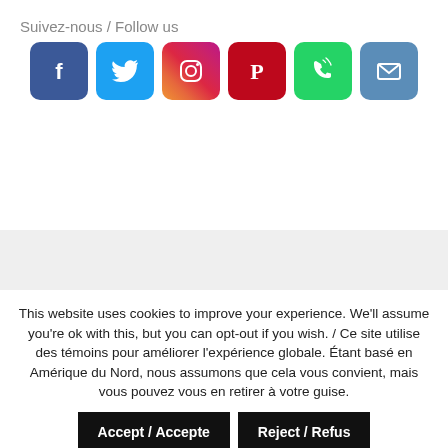Suivez-nous / Follow us
[Figure (illustration): Row of six social media icon buttons: Facebook (blue), Twitter (blue), Instagram (gradient pink/purple/orange), Pinterest (red), Phone/WhatsApp (green), Email (blue-gray)]
This website uses cookies to improve your experience. We'll assume you're ok with this, but you can opt-out if you wish. / Ce site utilise des témoins pour améliorer l'expérience globale. Étant basé en Amérique du Nord, nous assumons que cela vous convient, mais vous pouvez vous en retirer à votre guise.
Accept / Accepte
Reject / Refus
Read More / En savoir plus